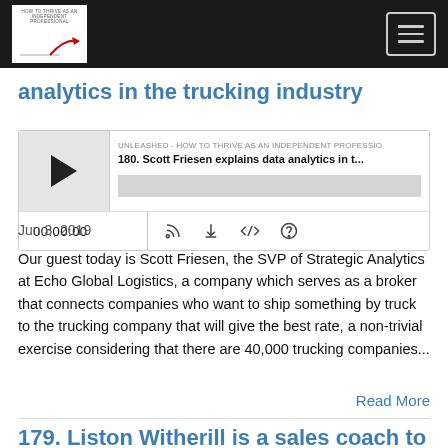UNLEASHED — navigation bar with logo and hamburger menu
analytics in the trucking industry
[Figure (screenshot): Podcast player widget showing episode 180. Scott Friesen explains data analytics in t... with play button, progress bar, time display 00:00:00, and control icons]
Jun 3, 2019
Our guest today is Scott Friesen, the SVP of Strategic Analytics at Echo Global Logistics, a company which serves as a broker that connects companies who want to ship something by truck to the trucking company that will give the best rate, a non-trivial exercise considering that there are 40,000 trucking companies...
Read More
179. Liston Witherill is a sales coach to